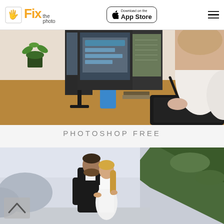Fix the photo — Download on the App Store
[Figure (photo): Woman working at a desk with a graphics tablet, pen holder with colored pencils, monitor, wooden desk surface, indoor creative workspace]
PHOTOSHOP FREE
[Figure (photo): Couple in wedding attire (man in black suit, woman in white dress) standing close together near rocky green mountainside under grey sky]